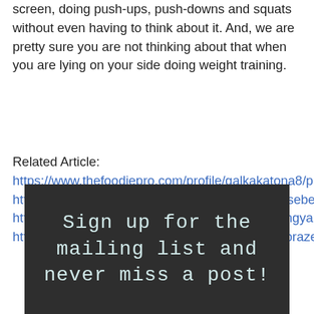screen, doing push-ups, push-downs and squats without even having to think about it. And, we are pretty sure you are not thinking about that when you are lying on your side doing weight training.
Related Article:
https://www.thefoodiepro.com/profile/galkakatona8/profile
https://www.hakshackwoodworks.com/profile/busebeanep/profile
https://www.candilesylamparas.com/profile/galangyantisn/profile
https://www.natashiamoraes.com/profile/hamanbrazeld/profile
[Figure (other): Dark banner with text: Sign up for the mailing list and never miss a post!]